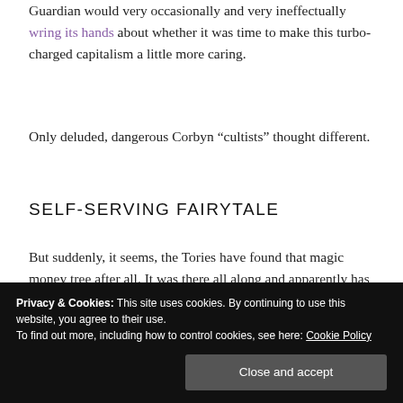Guardian would very occasionally and very ineffectually wring its hands about whether it was time to make this turbo-charged capitalism a little more caring.
Only deluded, dangerous Corbyn “cultists” thought different.
SELF-SERVING FAIRYTALE
But suddenly, it seems, the Tories have found that magic money tree after all. It was there all along and apparently has plenty of low-hanging fruit the rest of us may be allowed to partake from.
telling us for 10 years or more about harsh economic
Privacy & Cookies: This site uses cookies. By continuing to use this website, you agree to their use.
To find out more, including how to control cookies, see here: Cookie Policy